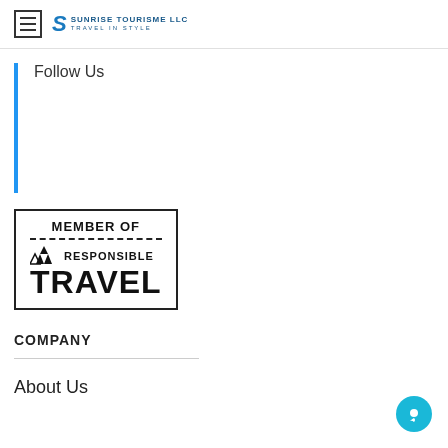Sunrise Tourisme LLC - Travel in Style
Follow Us
[Figure (logo): Member of Responsible Travel badge/logo with dashed separator line and tree icons]
COMPANY
About Us